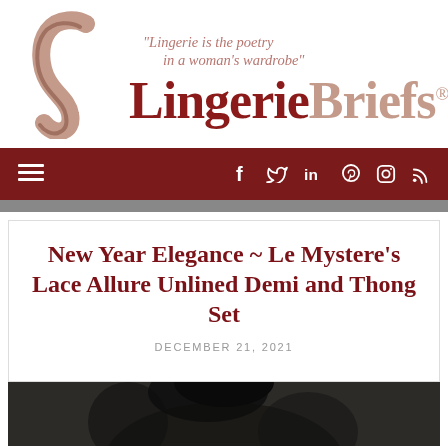[Figure (logo): LingerieBriefs logo with stylized L monogram and tagline 'Lingerie is the poetry in a woman's wardrobe']
[Figure (screenshot): Navigation bar with hamburger menu on left and social media icons (Facebook, Twitter, LinkedIn, Pinterest, Instagram, RSS) on right, dark red background]
New Year Elegance ~ Le Mystere's Lace Allure Unlined Demi and Thong Set
DECEMBER 21, 2021
[Figure (photo): Partial photo of lingerie model, bottom strip visible]